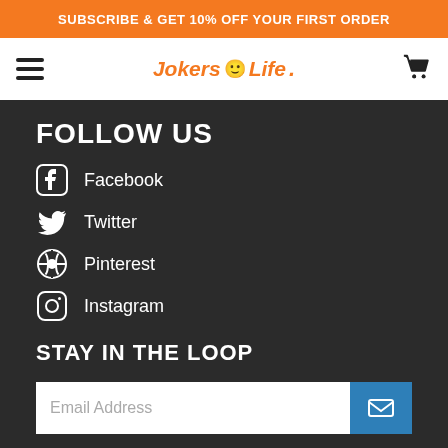SUBSCRIBE & GET 10% OFF YOUR FIRST ORDER
Jokers Life
FOLLOW US
Facebook
Twitter
Pinterest
Instagram
STAY IN THE LOOP
Email Address